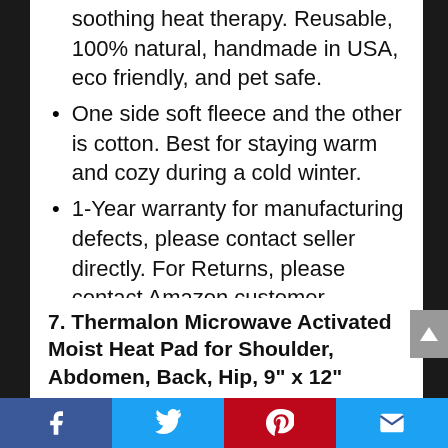soothing heat therapy. Reusable, 100% natural, handmade in USA, eco friendly, and pet safe.
One side soft fleece and the other is cotton. Best for staying warm and cozy during a cold winter.
1-Year warranty for manufacturing defects, please contact seller directly. For Returns, please contact Amazon customer service.
7. Thermalon Microwave Activated Moist Heat Pad for Shoulder, Abdomen, Back, Hip, 9" x 12"